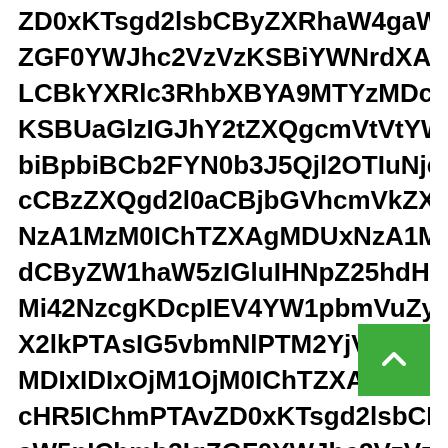ZD0xKTsgd2lsbCByZXRhaW4gaW4gaGlzdG9yeQoZGF0YWJhc2VzVzKSBiYWNrdXAgc2V0IHdpdGggdGdZ3JvcLCBkYXRlc3RhbXBYA9MTYzMDc5MjUxMiAoU2VwIDA1VwIDAKSBUaGlzIGJhY2tZXQgcmVtVtYWlucyBub24tZVbiBpbiBCb2FYN0b3J5QjI2OTIuNjc2SICg3KSBFeGFtaW5lczZXQgd2l0aCBjbGVhcmVkZXN0cGF5bG9hZCBwbHVzIG9uZXNpZ25hdHVyZQjZXQgd2l0aCBjbGVhcmVkZXN0cGF5bG9hZCBwbHVzIG9uZXNpZ25hdHVyZQoNzA1MzM0IChTZXAgMDUnTZXAgMDUnNzA1MzM0IChTZXAgMDUnTZXAgMDUnNzA1MzM0dCByZW1haW5zIG5vbi1aaENTZXAgMDUnTZXAgMDUnNzA1MzM0dCByZW1haW5zIG5vbi1aSmRhGFhYWFhYWFhYWFhYWFhYWFhYNzA1MzM0IChTZXAgMDUnNzA1MzM0IChTZXAgMDUnNzA1MzM0IChTZXAgMDUnDIxIDIwMjANyAoU2VwIDA1VwIDA
[Figure (other): Green scroll-to-top button with white upward chevron arrow, positioned at bottom-right of the page]